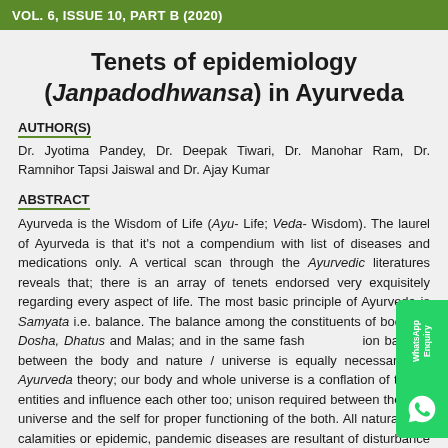VOL. 6, ISSUE 10, PART B (2020)
Tenets of epidemiology (Janpadodhwansa) in Ayurveda
AUTHOR(S)
Dr. Jyotima Pandey, Dr. Deepak Tiwari, Dr. Manohar Ram, Dr. Ramnihor Tapsi Jaiswal and Dr. Ajay Kumar
ABSTRACT
Ayurveda is the Wisdom of Life (Ayu- Life; Veda- Wisdom). The laurel of Ayurveda is that it's not a compendium with list of diseases and medications only. A vertical scan through the Ayurvedic literatures reveals that; there is an array of tenets endorsed very exquisitely regarding every aspect of life. The most basic principle of Ayurveda is Samyata i.e. balance. The balance among the constituents of body i.e. Dosha, Dhatus and Malas; and in the same fashion balance between the body and nature / universe is equally necessary. As per Ayurveda theory; our body and whole universe is a conflation of the same entities and influence each other too; unison required between the nature / universe and the self for proper functioning of the both. All natural disasters, calamities or epidemic, pandemic diseases are resultant of disturbance in the unison between inside and out. To accomplish that balance many fundamental principles are described in Ayurveda. As for as epidemiology is concerned a separate chapter has been given for this other principles like concept of